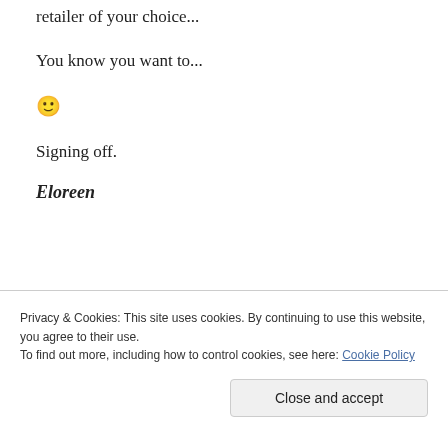retailer of your choice...
You know you want to...
🙂
Signing off.
Eloreen
Advertisements
[Figure (other): Black advertisement box with dark border inner frame]
Privacy & Cookies: This site uses cookies. By continuing to use this website, you agree to their use.
To find out more, including how to control cookies, see here: Cookie Policy
Close and accept